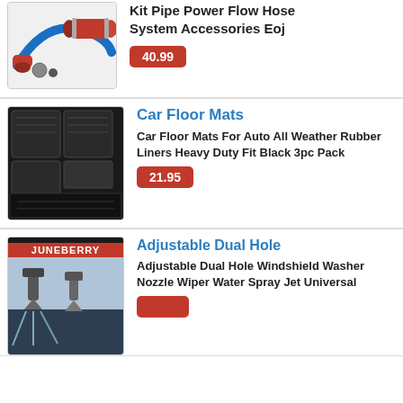[Figure (photo): Red air intake kit with blue hose and accessories]
Kit Pipe Power Flow Hose System Accessories Eoj
40.99
[Figure (photo): Black car floor mats set showing multiple pieces]
Car Floor Mats
Car Floor Mats For Auto All Weather Rubber Liners Heavy Duty Fit Black 3pc Pack
21.95
[Figure (photo): Juneberry brand adjustable dual hole windshield washer nozzles mounted on car]
Adjustable Dual Hole
Adjustable Dual Hole Windshield Washer Nozzle Wiper Water Spray Jet Universal